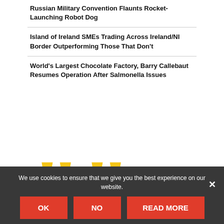Russian Military Convention Flaunts Rocket-Launching Robot Dog
Island of Ireland SMEs Trading Across Ireland/NI Border Outperforming Those That Don't
World's Largest Chocolate Factory, Barry Callebaut Resumes Operation After Salmonella Issues
[Figure (illustration): Large yellow double quotation mark graphic with blue bold text reading '[ QUOTE OF THE WEEK ]']
With greater...
We use cookies to ensure that we give you the best experience on our website.
OK | NO | READ MORE